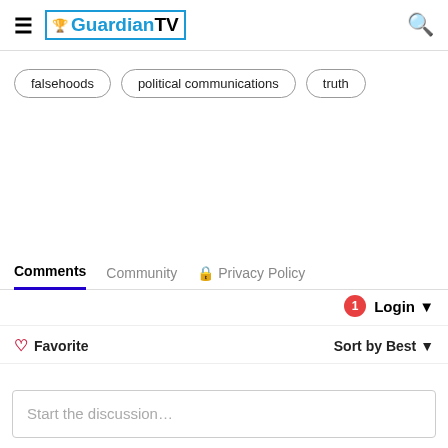Guardian TV
falsehoods
political communications
truth
Comments | Community | Privacy Policy
1 Login
♡ Favorite   Sort by Best
Start the discussion…